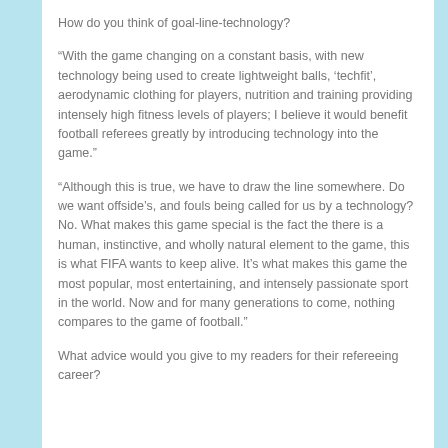How do you think of goal-line-technology?
“With the game changing on a constant basis, with new technology being used to create lightweight balls, ‘techfit’, aerodynamic clothing for players, nutrition and training providing intensely high fitness levels of players; I believe it would benefit football referees greatly by introducing technology into the game.”
“Although this is true, we have to draw the line somewhere. Do we want offside’s, and fouls being called for us by a technology? No. What makes this game special is the fact the there is a human, instinctive, and wholly natural element to the game, this is what FIFA wants to keep alive. It’s what makes this game the most popular, most entertaining, and intensely passionate sport in the world. Now and for many generations to come, nothing compares to the game of football.”
What advice would you give to my readers for their refereeing career?